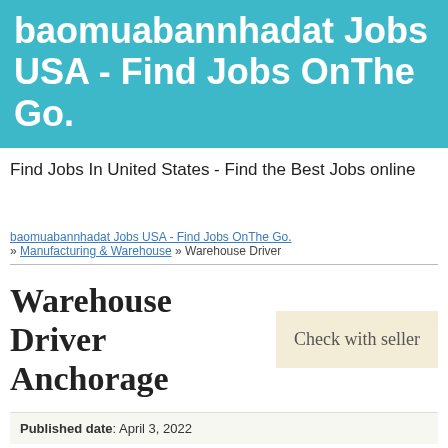baomuabannhadat Jobs USA - Find Jobs OnThe Go.
Find Jobs In United States - Find the Best Jobs online
baomuabannhadat Jobs USA - Find Jobs OnThe Go. » Manufacturing & Warehouse » Warehouse Driver
Warehouse Driver Anchorage
Check with seller
Published date: April 3, 2022